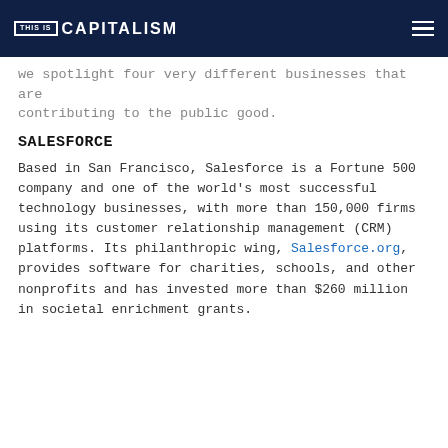THIS IS CAPITALISM
we spotlight four very different businesses that are contributing to the public good.
SALESFORCE
Based in San Francisco, Salesforce is a Fortune 500 company and one of the world’s most successful technology businesses, with more than 150,000 firms using its customer relationship management (CRM) platforms. Its philanthropic wing, Salesforce.org, provides software for charities, schools, and other nonprofits and has invested more than $260 million in societal enrichment grants.